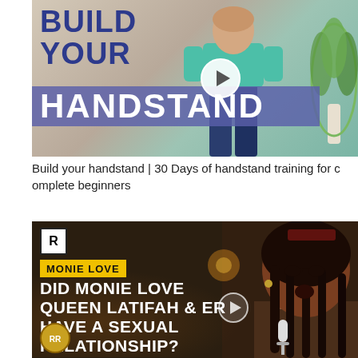[Figure (screenshot): Video thumbnail for 'Build your handstand' showing a woman in teal shirt and blue pants, with bold blue text 'BUILD YOUR' and purple banner 'HANDSTAND', and a circular play button.]
Build your handstand | 30 Days of handstand training for complete beginners
[Figure (screenshot): Video thumbnail with dark background showing Monie Love. Yellow label 'MONIE LOVE', white bold text 'DID MONIE LOVE QUEEN LATIFAH & HER HAVE A SEXUAL RELATIONSHIP?', R-rated badge top left, circular play button, microphone visible.]